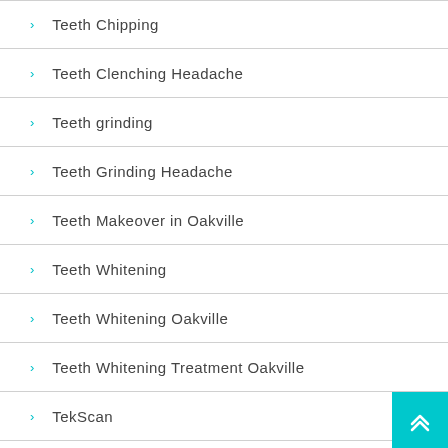Teeth Chipping
Teeth Clenching Headache
Teeth grinding
Teeth Grinding Headache
Teeth Makeover in Oakville
Teeth Whitening
Teeth Whitening Oakville
Teeth Whitening Treatment Oakville
TekScan